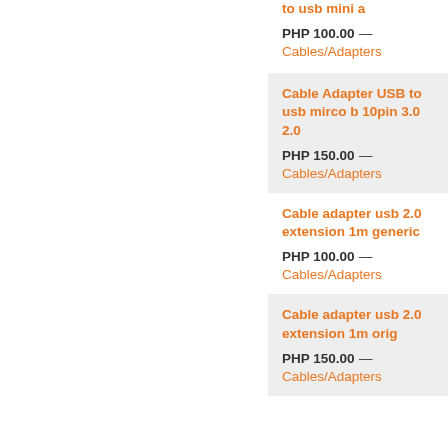to usb mini a
PHP 100.00 — Cables/Adapters
Cable Adapter USB to usb mirco b 10pin 3.0 2.0
PHP 150.00 — Cables/Adapters
Cable adapter usb 2.0 extension 1m generic
PHP 100.00 — Cables/Adapters
Cable adapter usb 2.0 extension 1m orig
PHP 150.00 — Cables/Adapters